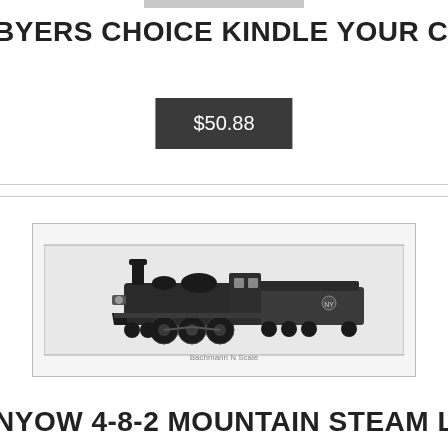[Figure (photo): Top portion of a product photo, partially cropped at top of page]
BYERS CHOICE KINDLE YOUR CHOICE
$50.88
[Figure (photo): Model train locomotive (steam engine 4-8-2 Mountain type) in clear display packaging, black color, viewed from side]
NYOW 4-8-2 MOUNTAIN STEAM LOCO